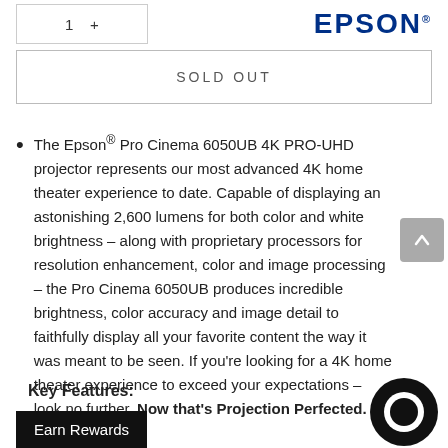1   [quantity input]   EPSON®
SOLD OUT
The Epson® Pro Cinema 6050UB 4K PRO-UHD projector represents our most advanced 4K home theater experience to date. Capable of displaying an astonishing 2,600 lumens for both color and white brightness – along with proprietary processors for resolution enhancement, color and image processing – the Pro Cinema 6050UB produces incredible brightness, color accuracy and image detail to faithfully display all your favorite content the way it was meant to be seen. If you're looking for a 4K home theater experience to exceed your expectations – look no further. Now that's Projection Perfected.
Key Features:
Earn Rewards
Black™ Technology — Epson created a